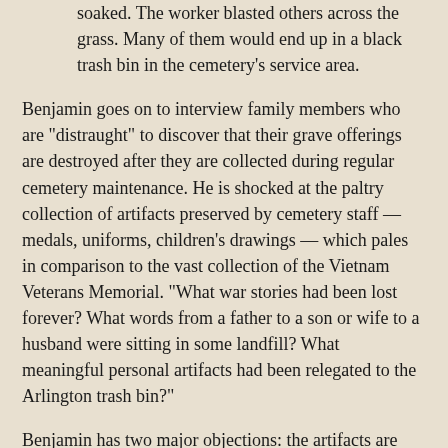soaked. The worker blasted others across the grass. Many of them would end up in a black trash bin in the cemetery's service area.
Benjamin goes on to interview family members who are "distraught" to discover that their grave offerings are destroyed after they are collected during regular cemetery maintenance. He is shocked at the paltry collection of artifacts preserved by cemetery staff — medals, uniforms, children's drawings — which pales in comparison to the vast collection of the Vietnam Veterans Memorial. "What war stories had been lost forever? What words from a father to a son or wife to a husband were sitting in some landfill? What meaningful personal artifacts had been relegated to the Arlington trash bin?"
Benjamin has two major objections: the artifacts are treated disrespectfully and they are not being preserved for posterity. The first seems quite overblown — he admits that he visited after several days of heavy rain and the "disrespect" he witnesses seems to consist mainly of soggy letters that have blown about. Does he want Arlington to build a dome? And